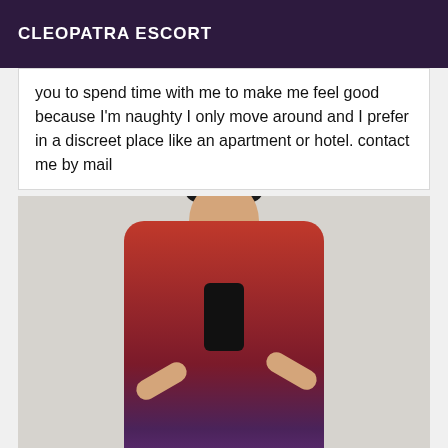CLEOPATRA ESCORT
you to spend time with me to make me feel good because I'm naughty I only move around and I prefer in a discreet place like an apartment or hotel. contact me by mail
[Figure (photo): A woman in a red dress taking a mirror selfie with a black smartphone, wearing a small hair accessory, against a light wall background.]